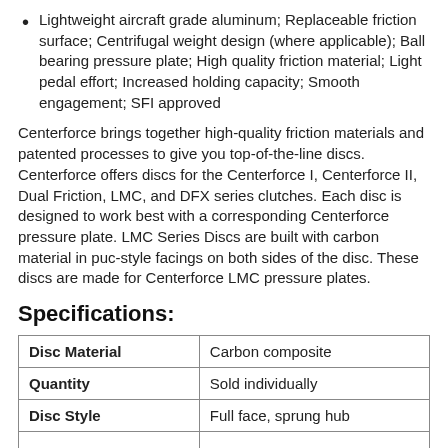Lightweight aircraft grade aluminum; Replaceable friction surface; Centrifugal weight design (where applicable); Ball bearing pressure plate; High quality friction material; Light pedal effort; Increased holding capacity; Smooth engagement; SFI approved
Centerforce brings together high-quality friction materials and patented processes to give you top-of-the-line discs. Centerforce offers discs for the Centerforce I, Centerforce II, Dual Friction, LMC, and DFX series clutches. Each disc is designed to work best with a corresponding Centerforce pressure plate. LMC Series Discs are built with carbon material in puc-style facings on both sides of the disc. These discs are made for Centerforce LMC pressure plates.
Specifications:
| Disc Material |  |
| --- | --- |
| Disc Material | Carbon composite |
| Quantity | Sold individually |
| Disc Style | Full face, sprung hub |